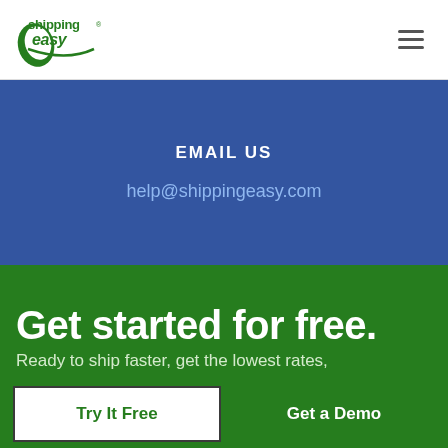[Figure (logo): ShippingEasy logo in green with stylized text]
EMAIL US
help@shippingeasy.com
Get started for free.
Ready to ship faster, get the lowest rates,
Try It Free
Get a Demo